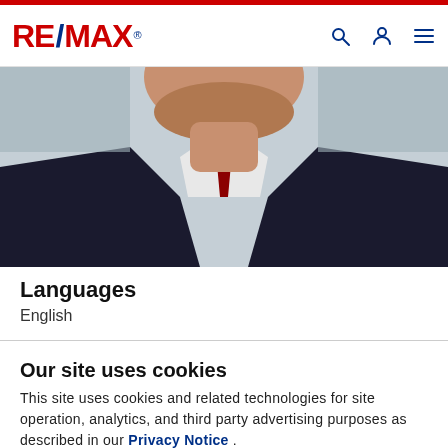RE/MAX
[Figure (photo): Cropped photo of a male real estate agent in a dark suit, white shirt, and red tie, shown from chin/neck down to chest area, with light blue/grey background.]
Languages
English
Our site uses cookies
This site uses cookies and related technologies for site operation, analytics, and third party advertising purposes as described in our Privacy Notice .
ACCEPT